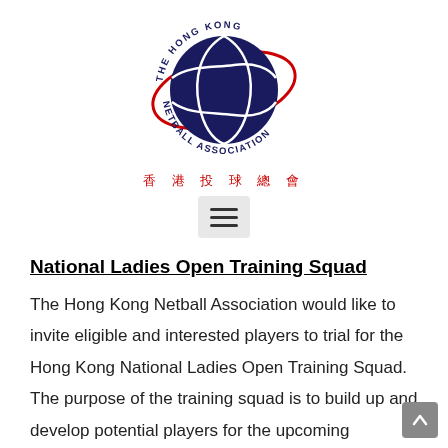[Figure (logo): The Hong Kong Netball Association logo — dark navy blue netball with circular text reading 'THE HONG KONG NETBALL ASSOCIATION' and a red oval swoosh]
香 港 投 球 總 會
National Ladies Open Training Squad
The Hong Kong Netball Association would like to invite eligible and interested players to trial for the Hong Kong National Ladies Open Training Squad. The purpose of the training squad is to build up and develop potential players for the upcoming